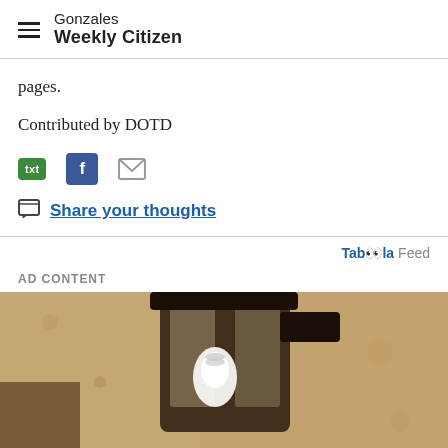Gonzales Weekly Citizen
pages.
Contributed by DOTD
[Figure (infographic): Social share icons: green SMS/txt button, blue Facebook button, grey email envelope icon]
Share your thoughts
Taboola Feed
AD CONTENT
[Figure (photo): Close-up photo of a dark metal outdoor lantern wall light with a white LED bulb, mounted on a textured stucco wall]